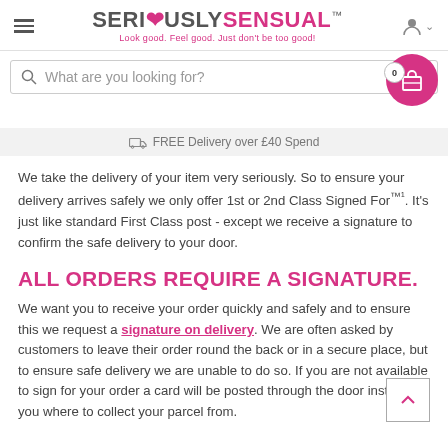SERIOUSLYSENSUAL™ — Look good. Feel good. Just don't be too good!
What are you looking for?
FREE Delivery over £40 Spend
We take the delivery of your item very seriously. So to ensure your delivery arrives safely we only offer 1st or 2nd Class Signed For™¹. It's just like standard First Class post - except we receive a signature to confirm the safe delivery to your door.
ALL ORDERS REQUIRE A SIGNATURE.
We want you to receive your order quickly and safely and to ensure this we request a signature on delivery. We are often asked by customers to leave their order round the back or in a secure place, but to ensure safe delivery we are unable to do so. If you are not available to sign for your order a card will be posted through the door instructing you where to collect your parcel from.